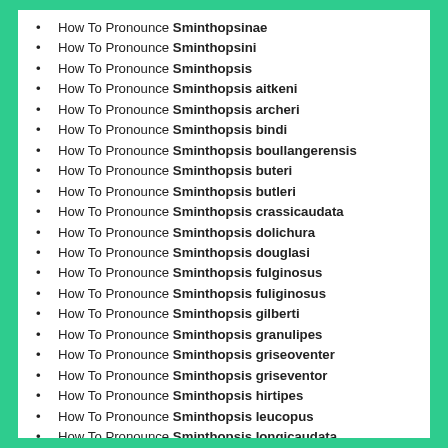How To Pronounce Sminthopsinae
How To Pronounce Sminthopsini
How To Pronounce Sminthopsis
How To Pronounce Sminthopsis aitkeni
How To Pronounce Sminthopsis archeri
How To Pronounce Sminthopsis bindi
How To Pronounce Sminthopsis boullangerensis
How To Pronounce Sminthopsis buteri
How To Pronounce Sminthopsis butleri
How To Pronounce Sminthopsis crassicaudata
How To Pronounce Sminthopsis dolichura
How To Pronounce Sminthopsis douglasi
How To Pronounce Sminthopsis fulginosus
How To Pronounce Sminthopsis fuliginosus
How To Pronounce Sminthopsis gilberti
How To Pronounce Sminthopsis granulipes
How To Pronounce Sminthopsis griseoventer
How To Pronounce Sminthopsis griseventor
How To Pronounce Sminthopsis hirtipes
How To Pronounce Sminthopsis leucopus
How To Pronounce Sminthopsis longicaudata
How To Pronounce Sminthopsis macroura